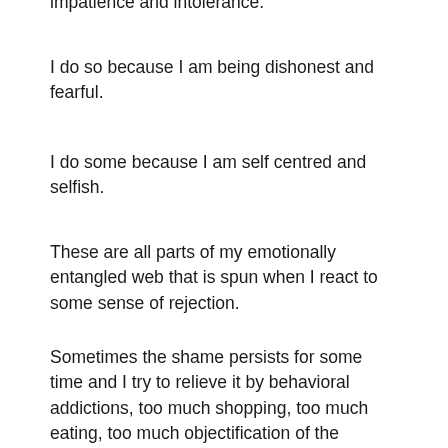impatience and intolerance.
I do so because I am being dishonest and fearful.
I do some because I am self centred and selfish.
These are all parts of my emotionally entangled web that is spun when I react to some sense of rejection.
Sometimes the shame persists for some time and I try to relieve it by behavioral addictions, too much shopping, too much eating, too much objectification of the opposite sex.